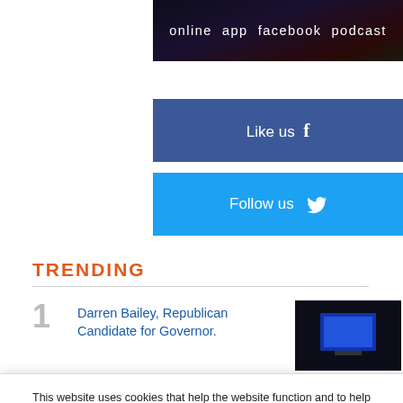[Figure (screenshot): Dark banner image with text: online  app  facebook  podcast]
[Figure (screenshot): Blue Facebook 'Like us' button with Facebook icon]
[Figure (screenshot): Light blue Twitter 'Follow us' button with Twitter bird icon]
TRENDING
Darren Bailey, Republican Candidate for Governor.
[Figure (photo): Dark thumbnail image of a screen/display]
This website uses cookies that help the website function and to help us understand how to interact with it. We use these cookies to provide you with improved and customized user-experience. If you continue to the use of the website, we assume that you are okay with it.
Got It